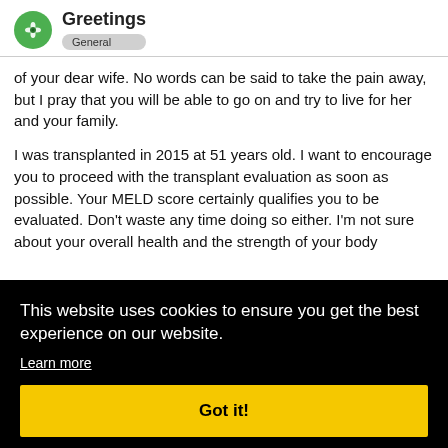Greetings — General
of your dear wife. No words can be said to take the pain away, but I pray that you will be able to go on and try to live for her and your family.

I was transplanted in 2015 at 51 years old. I want to encourage you to proceed with the transplant evaluation as soon as possible. Your MELD score certainly qualifies you to be evaluated. Don't waste any time doing so either. I'm not sure about your overall health and the strength of your body
[Figure (screenshot): Cookie consent overlay with black background. Text: 'This website uses cookies to ensure you get the best experience on our website.' with 'Learn more' link and yellow 'Got it!' button.]
listed for transplant at MELD 12. In April